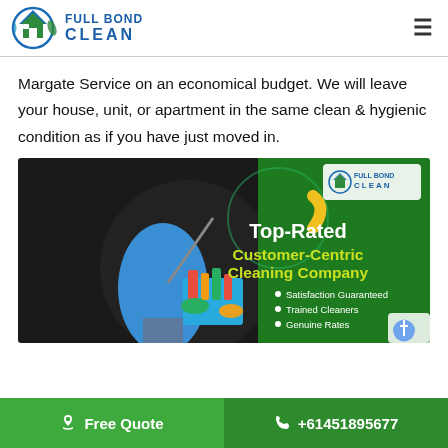FULL BOND CLEAN
Margate Service on an economical budget. We will leave your house, unit, or apartment in the same clean & hygienic condition as if you have just moved in.
[Figure (photo): Full Bond Clean promotional banner showing a cleaner holding a bucket of cleaning supplies, with green background, text: Top-Rated Customer-Centric Cleaning Company. Bullet points: Satisfaction Guaranteed, Trained Cleaners, Genuine Rates. Full Bond Clean logo in top right.]
Free Quote | +61451895677